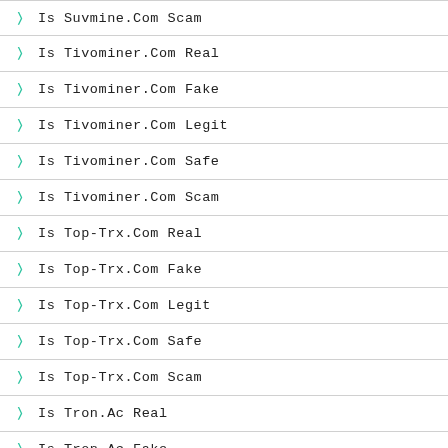Is Suvmine.Com Scam
Is Tivominer.Com Real
Is Tivominer.Com Fake
Is Tivominer.Com Legit
Is Tivominer.Com Safe
Is Tivominer.Com Scam
Is Top-Trx.Com Real
Is Top-Trx.Com Fake
Is Top-Trx.Com Legit
Is Top-Trx.Com Safe
Is Top-Trx.Com Scam
Is Tron.Ac Real
Is Tron.Ac Fake